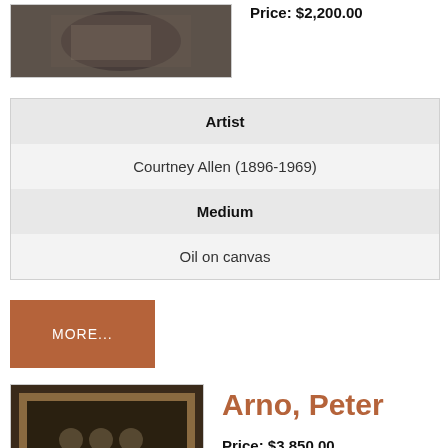[Figure (photo): Partial view of a painting/artwork photograph, dark tones]
Price: $2,200.00
| Artist |
| Courtney Allen (1896-1969) |
| Medium |
| Oil on canvas |
MORE...
[Figure (photo): Framed artwork photograph, dark tones with circular patterns]
Arno, Peter
Price: $3,850.00